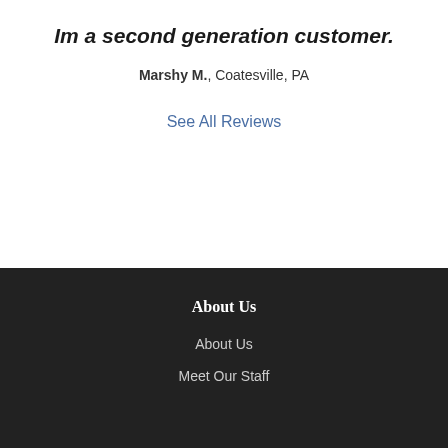Im a second generation customer.
Marshy M., Coatesville, PA
See All Reviews
About Us
About Us
Meet Our Staff